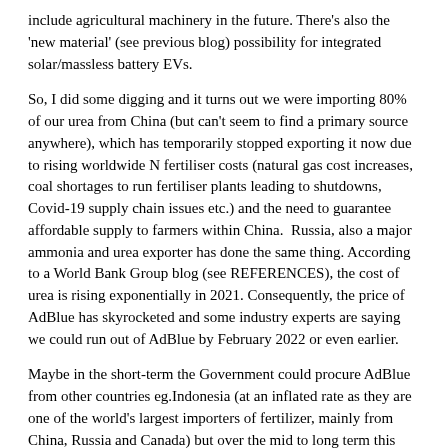include agricultural machinery in the future. There's also the 'new material' (see previous blog) possibility for integrated solar/massless battery EVs.
So, I did some digging and it turns out we were importing 80% of our urea from China (but can't seem to find a primary source anywhere), which has temporarily stopped exporting it now due to rising worldwide N fertiliser costs (natural gas cost increases, coal shortages to run fertiliser plants leading to shutdowns, Covid-19 supply chain issues etc.) and the need to guarantee affordable supply to farmers within China.  Russia, also a major ammonia and urea exporter has done the same thing. According to a World Bank Group blog (see REFERENCES), the cost of urea is rising exponentially in 2021. Consequently, the price of AdBlue has skyrocketed and some industry experts are saying we could run out of AdBlue by February 2022 or even earlier.
Maybe in the short-term the Government could procure AdBlue from other countries eg.Indonesia (at an inflated rate as they are one of the world's largest importers of fertilizer, mainly from China, Russia and Canada) but over the mid to long term this approach would help leave those countries high and dry without it and create an artificial or 'synthetic' sense of security in Australia. Maybe Canada could